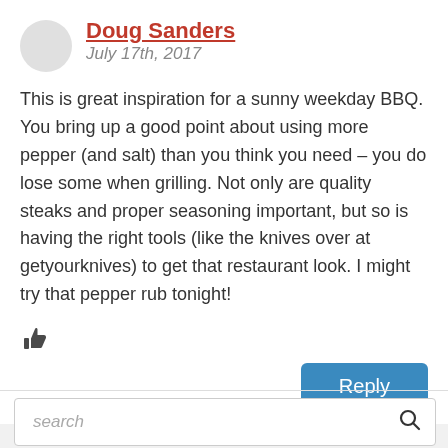Doug Sanders
July 17th, 2017
This is great inspiration for a sunny weekday BBQ. You bring up a good point about using more pepper (and salt) than you think you need – you do lose some when grilling. Not only are quality steaks and proper seasoning important, but so is having the right tools (like the knives over at getyourknives) to get that restaurant look. I might try that pepper rub tonight!
[Figure (illustration): Thumbs up / like icon]
Reply
search